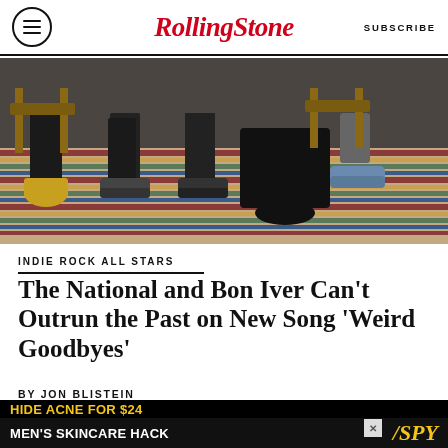Rolling Stone — SUBSCRIBE
[Figure (photo): Photo of band members' lower bodies sitting on a colorful striped rug, showing shoes and legs from knee down]
INDIE ROCK ALL STARS
The National and Bon Iver Can't Outrun the Past on New Song 'Weird Goodbyes'
BY JON BLISTEIN
[Figure (photo): Partial photo with mauve/purple background showing top of person's head]
[Figure (other): Advertisement banner: MEN'S SKINCARE HACK HIDE ACNE FOR $24 — SPY logo]